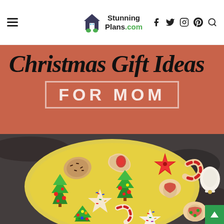StunningPlans.com
Christmas Gift Ideas FOR MOM
[Figure (photo): A yellow plate topped with a variety of decorated Christmas sugar cookies in shapes of trees, stars, candy canes, and other holiday shapes, with colorful icing and sprinkles, on a granite countertop background.]